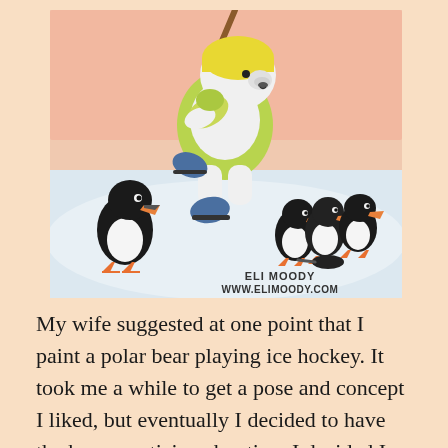[Figure (illustration): Illustration of a polar bear wearing a yellow helmet and green jersey, skating on ice and playing hockey with a stick. Several puffins watch from the ice. A hockey puck is visible. Watermark reads 'ELI MOODY WWW.ELIMOODY.COM'.]
My wife suggested at one point that I paint a polar bear playing ice hockey. It took me a while to get a pose and concept I liked, but eventually I decided to have the bear practicing shooting. I decided I wanted some other